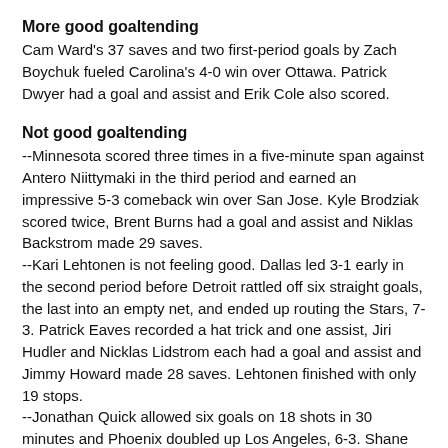More good goaltending
Cam Ward's 37 saves and two first-period goals by Zach Boychuk fueled Carolina's 4-0 win over Ottawa. Patrick Dwyer had a goal and assist and Erik Cole also scored.
Not good goaltending
--Minnesota scored three times in a five-minute span against Antero Niittymaki in the third period and earned an impressive 5-3 comeback win over San Jose. Kyle Brodziak scored twice, Brent Burns had a goal and assist and Niklas Backstrom made 29 saves.
--Kari Lehtonen is not feeling good. Dallas led 3-1 early in the second period before Detroit rattled off six straight goals, the last into an empty net, and ended up routing the Stars, 7-3. Patrick Eaves recorded a hat trick and one assist, Jiri Hudler and Nicklas Lidstrom each had a goal and assist and Jimmy Howard made 28 saves. Lehtonen finished with only 19 stops.
--Jonathan Quick allowed six goals on 18 shots in 30 minutes and Phoenix doubled up Los Angeles, 6-3. Shane Doan scored twice, Scottie Upshall had a goal and two